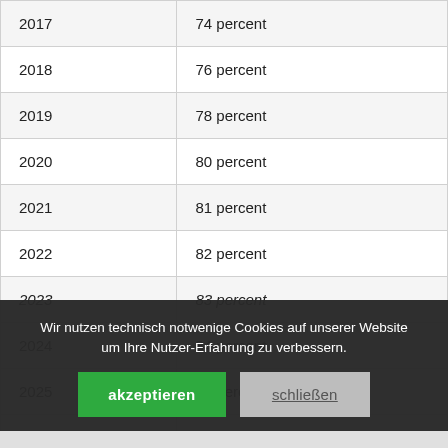| Year | Percentage |
| --- | --- |
| 2017 | 74 percent |
| 2018 | 76 percent |
| 2019 | 78 percent |
| 2020 | 80 percent |
| 2021 | 81 percent |
| 2022 | 82 percent |
| 2023 | 83 percent |
| 2024 | 84 percent |
| 2025 | 85 percent |
| 2026 | 86 percent |
| 2027 | 87 percent |
Wir nutzen technisch notwenige Cookies auf unserer Website um Ihre Nutzer-Erfahrung zu verbessern.
akzeptieren
schließen
Individuelle Einstellungen